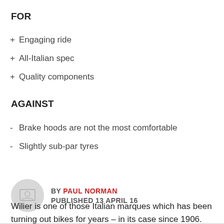FOR
+ Engaging ride
+ All-Italian spec
+ Quality components
AGAINST
- Brake hoods are not the most comfortable
- Slightly sub-par tyres
BY PAUL NORMAN
PUBLISHED 13 APRIL 16
Wilier is one of those Italian marques which has been turning out bikes for years – in its case since 1906. No-